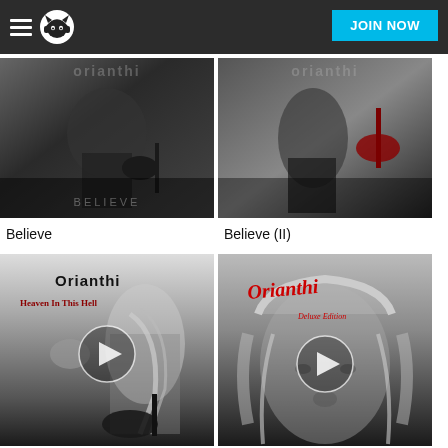Napster — JOIN NOW
[Figure (screenshot): Album art for 'Believe' by Orianthi — dark photo of guitarist]
Believe
[Figure (screenshot): Album art for 'Believe (II)' by Orianthi — dark photo with red guitar]
Believe (II)
[Figure (screenshot): Album art for 'Heaven In This Hell' by Orianthi — black and white photo with play button overlay]
Heaven In This Hell
[Figure (screenshot): Album art for 'Heaven in This Hell (Deluxe Edition)' by Orianthi — black and white close-up with red script logo and play button overlay]
Heaven in This Hell (Deluxe Edition)